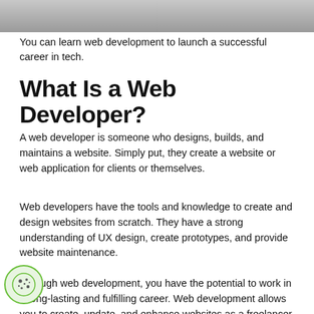[Figure (photo): Partial view of a laptop or device on a desk, cropped at the top of the page]
You can learn web development to launch a successful career in tech.
What Is a Web Developer?
A web developer is someone who designs, builds, and maintains a website. Simply put, they create a website or web application for clients or themselves.
Web developers have the tools and knowledge to create and design websites from scratch. They have a strong understanding of UX design, create prototypes, and provide website maintenance.
Through web development, you have the potential to work in a long-lasting and fulfilling career. Web development allows you to create, update, and enhance websites as a freelancer or for a company.